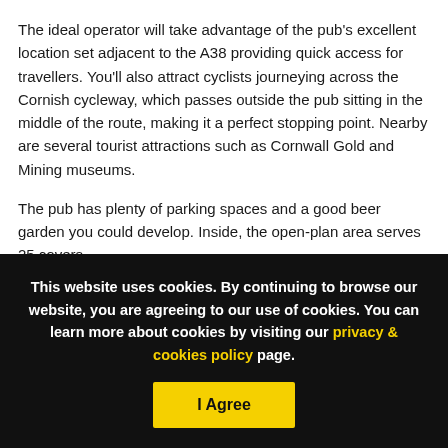The ideal operator will take advantage of the pub's excellent location set adjacent to the A38 providing quick access for travellers. You'll also attract cyclists journeying across the Cornish cycleway, which passes outside the pub sitting in the middle of the route, making it a perfect stopping point. Nearby are several tourist attractions such as Cornwall Gold and Mining museums.
The pub has plenty of parking spaces and a good beer garden you could develop. Inside, the open-plan area serves 25 covers,
This website uses cookies. By continuing to browse our website, you are agreeing to our use of cookies. You can learn more about cookies by visiting our privacy & cookies policy page.